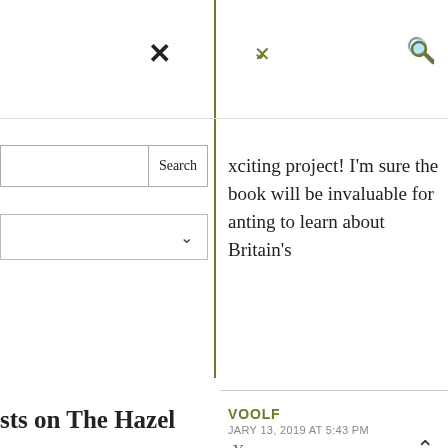×
✓
🔍
Search
∨
xciting project! I'm sure the book will be invaluable for anting to learn about Britain's
sts on The Hazel
VOOLF
JARY 13, 2019 AT 5:43 PM
-Y
^
nd Maclaine's skull – a
med
nk you, Lyn! Yes, it's very ing! I'm learning a lot myself,